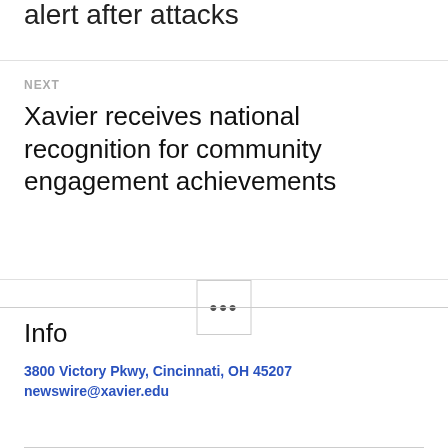alert after attacks
NEXT
Xavier receives national recognition for community engagement achievements
Info
3800 Victory Pkwy, Cincinnati, OH 45207
newswire@xavier.edu